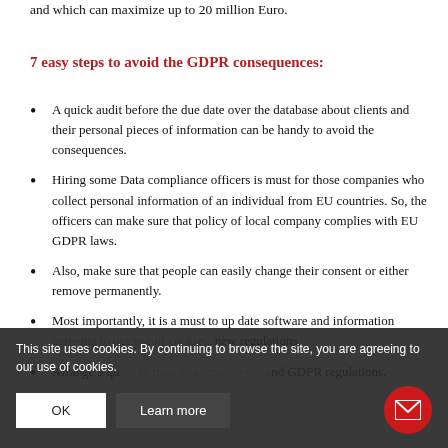and which can maximize up to 20 million Euro.
7 easy steps to avoid the GDPR consequences:
A quick audit before the due date over the database about clients and their personal pieces of information can be handy to avoid the consequences.
Hiring some Data compliance officers is must for those companies who collect personal information of an individual from EU countries. So, the officers can make sure that policy of local company complies with EU GDPR laws.
Also, make sure that people can easily change their consent or either remove permanently.
Most importantly, it is a must to up date software and information agreeing to our use of cookies. new regulations.
Arrange a quick to train your employees and GDPR regulations.
This site uses cookies. By continuing to browse the site, you are agreeing to our use of cookies.